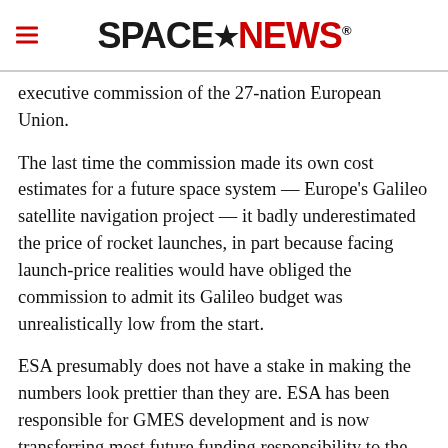SPACENEWS
executive commission of the 27-nation European Union.
The last time the commission made its own cost estimates for a future space system — Europe's Galileo satellite navigation project — it badly underestimated the price of rocket launches, in part because facing launch-price realities would have obliged the commission to admit its Galileo budget was unrealistically low from the start.
ESA presumably does not have a stake in making the numbers look prettier than they are. ESA has been responsible for GMES development and is now transferring most future funding responsibility to the European Commission, which leads GMES operations.